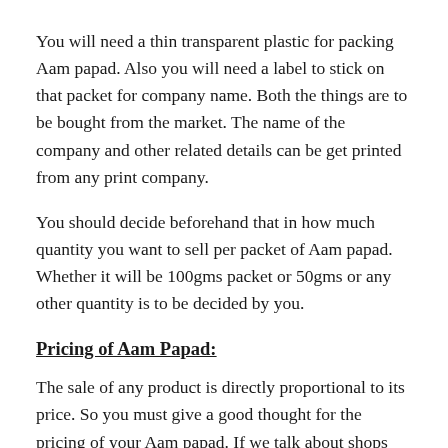You will need a thin transparent plastic for packing Aam papad. Also you will need a label to stick on that packet for company name. Both the things are to be bought from the market. The name of the company and other related details can be get printed from any print company.
You should decide beforehand that in how much quantity you want to sell per packet of Aam papad. Whether it will be 100gms packet or 50gms or any other quantity is to be decided by you.
Pricing of Aam Papad:
The sale of any product is directly proportional to its price. So you must give a good thought for the pricing of your Aam papad. If we talk about shops then 1 kg of Aam papad is sold for around Rs 400. On the other hand 150gms Aam papad is sold for around Rs 130. So you will have to price your Aam